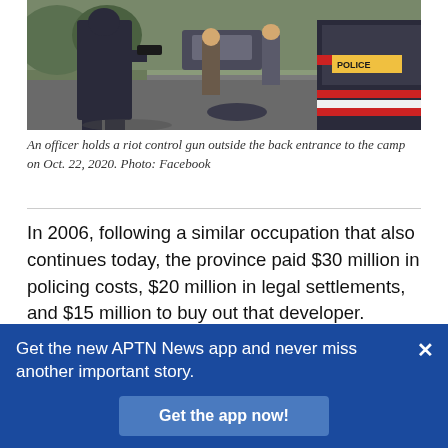[Figure (photo): A police officer holding a riot control gun outside the back entrance to a camp, with other people and police vehicles visible in the background. Taken Oct. 22, 2020.]
An officer holds a riot control gun outside the back entrance to the camp on Oct. 22, 2020. Photo: Facebook
In 2006, following a similar occupation that also continues today, the province paid $30 million in policing costs, $20 million in legal settlements, and $15 million to buy out that developer.
Like Williams, Courtney Skye is left with questions
Get the new APTN News app and never miss another important story.
Get the app now!